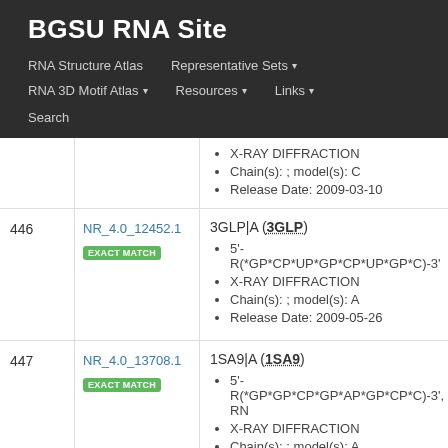BGSU RNA Site
RNA Structure Atlas | Representative Sets ▾ | RNA 3D Motif Atlas ▾ | Resources ▾ | Links ▾ | Search
X-RAY DIFFRACTION
Chain(s): ; model(s): C
Release Date: 2009-03-10
| # | ID | Details |
| --- | --- | --- |
| 446 | NR_4.0_12452.1 EXACT MATCH | 3GLP|A (3GLP)
• 5'-R(*GP*CP*UP*GP*CP*UP*GP*C)-3'
• X-RAY DIFFRACTION
• Chain(s): ; model(s): A
• Release Date: 2009-05-26 |
| 447 | NR_4.0_13708.1 EXACT MATCH | 1SA9|A (1SA9)
• 5'-R(*GP*GP*CP*GP*AP*GP*CP*C)-3', RN
• X-RAY DIFFRACTION
• Chain(s): ; model(s): A
• Release Date: 2004-05-18 |